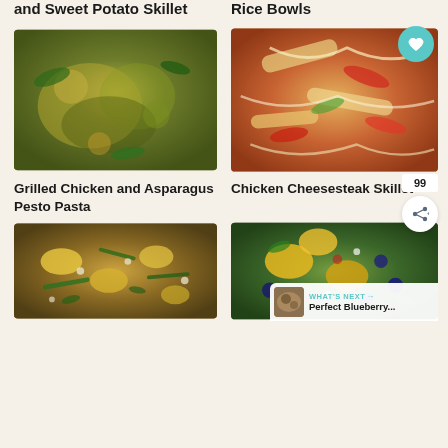and Sweet Potato Skillet
Rice Bowls
[Figure (photo): Grilled chicken and asparagus pesto pasta in a bowl with pine nuts and basil]
Grilled Chicken and Asparagus Pesto Pasta
[Figure (photo): Chicken cheesesteak skillet with peppers and melted cheese]
Chicken Cheesesteak Skillet
[Figure (photo): Vegetable skillet dish with squash and green beans]
[Figure (photo): Fruit salad bowl with blueberries, mango and feta cheese]